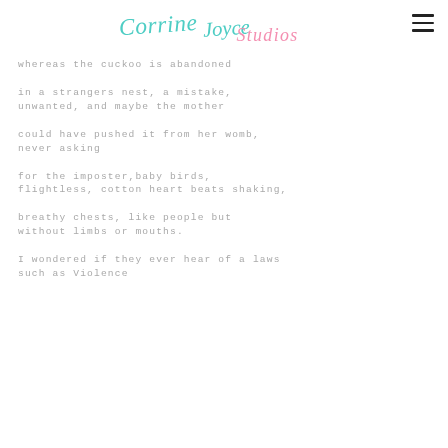Corrine Joyce Studios
whereas the cuckoo is abandoned

in a strangers nest, a mistake,
unwanted, and maybe the mother

could have pushed it from her womb,
never asking

for the imposter,baby birds,
flightless, cotton heart beats shaking,

breathy chests, like people but
without limbs or mouths.

I wondered if they ever hear of a laws
such as Violence